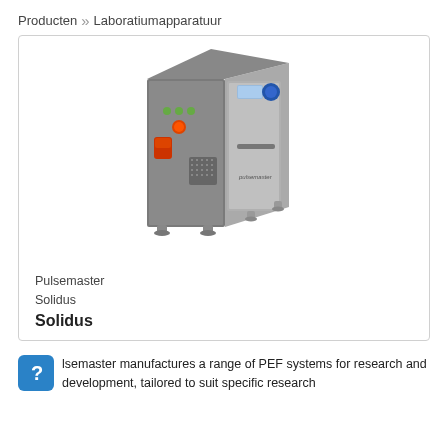Producten » Laboratiumapparatuur
[Figure (photo): Photo of the Pulsemaster Solidus PEF (Pulsed Electric Field) machine — a large stainless steel industrial cabinet with control panel, display screen, indicators, emergency stop button, ventilation grid, and door with handle, mounted on adjustable feet.]
Pulsemaster
Solidus
Solidus
Pulsemaster manufactures a range of PEF systems for research and development, tailored to suit specific research